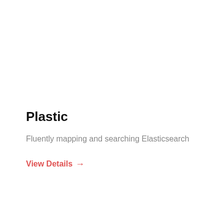Plastic
Fluently mapping and searching Elasticsearch
View Details →